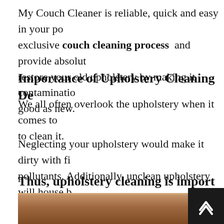My Couch Cleaner is reliable, quick and easy in your po exclusive couch cleaning process and provide absolut restore your old upholstery by making it contaminatio good as new.
Importance of Upholstery Cleaning De
We all often overlook the upholstery when it comes to to clean it.
Neglecting your upholstery would make it dirty with fi pollutants. Additionally, unclean upholstery will house much more and these, in turn, return provide polluted unhealthy and sick
Thus, upholstery cleaning is import
[Figure (photo): Photo of a brown leather/fabric couch or upholstery item partially visible at the bottom of the page]